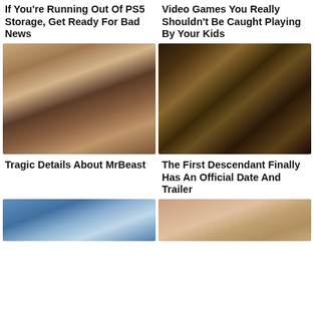If You're Running Out Of PS5 Storage, Get Ready For Bad News
Video Games You Really Shouldn't Be Caught Playing By Your Kids
[Figure (photo): Close-up photo of MrBeast, a young man with light brown hair and a small beard, wearing a black shirt]
[Figure (photo): Video game character from The First Descendant, a soldier aiming a large weapon with armor]
Tragic Details About MrBeast
The First Descendant Finally Has An Official Date And Trailer
[Figure (photo): Partial photo showing a blue blurred background at bottom left]
[Figure (photo): Partial photo showing a woman with light brown hair at bottom right]